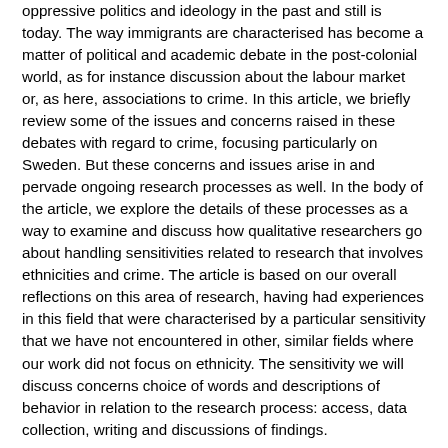oppressive politics and ideology in the past and still is today. The way immigrants are characterised has become a matter of political and academic debate in the post-colonial world, as for instance discussion about the labour market or, as here, associations to crime. In this article, we briefly review some of the issues and concerns raised in these debates with regard to crime, focusing particularly on Sweden. But these concerns and issues arise in and pervade ongoing research processes as well. In the body of the article, we explore the details of these processes as a way to examine and discuss how qualitative researchers go about handling sensitivities related to research that involves ethnicities and crime. The article is based on our overall reflections on this area of research, having had experiences in this field that were characterised by a particular sensitivity that we have not encountered in other, similar fields where our work did not focus on ethnicity. The sensitivity we will discuss concerns choice of words and descriptions of behavior in relation to the research process: access, data collection, writing and discussions of findings.
This sensitivity, however, can be visible for researchers in various fields in migration research. According to an article in Curie, a Swedish science magazine, migration researchers often find themselves in the spotlight, and their results may be called into question (Östlund 2018). As Bosworth et al. (2018: 1–2) note '… the role in shaping of the political debate…'